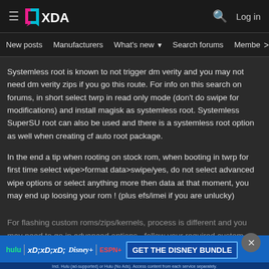XDA Developers - New posts | Manufacturers | What's new | Search forums | Members
Systemless root is known to not trigger dm verity and you may not need dm verity zips if you go this route. For info on this search on forums, in short select twrp in read only mode (don't do swipe for modifications) and install magisk as systemless root. Systemless SuperSU root can also be used and there is a systemless root option as well when creating cf auto root package.
In the end a tip when rooting on stock rom, when booting in twrp for first time select wipe>format data>swipe/yes, do not select advanced wipe options or select anything more then data at that moment, you may end up loosing your rom ! (plus efs/imei if you are unlucky)
For flashing custom roms/zips/kernels, process is different and you may need to go in advanced options , follow your required custom software thread for...
[Figure (infographic): Disney Bundle advertisement banner: hulu, Disney+, ESPN+ logos with GET THE DISNEY BUNDLE call to action button. Fine print about Hulu ad-supported or no ads, access content from each service separately. ©2021 Disney and its related entities.]
Links